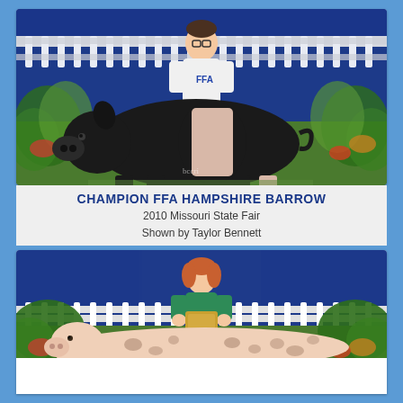[Figure (photo): A person in an FFA t-shirt posing with a Hampshire barrow (black pig with white belt) at the Missouri State Fair, with a blue banner backdrop, white picket fence, and green foliage decorations.]
CHAMPION FFA HAMPSHIRE BARROW
2010 Missouri State Fair
Shown by Taylor Bennett
[Figure (photo): A young woman in a green dress holding a plaque/trophy, posing with a large spotted pig at the Missouri State Fair, with blue banner backdrop, white picket fence, and tropical foliage decorations.]